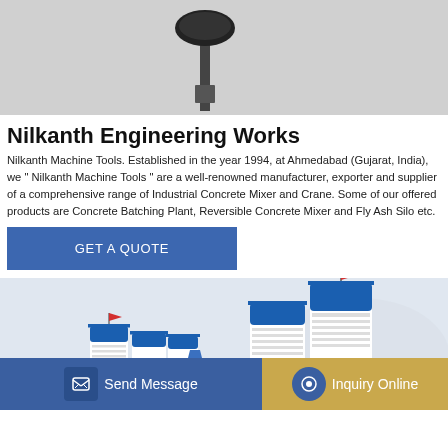[Figure (photo): Top portion of industrial machinery (concrete mixer or crane) on gray background, partially visible]
Nilkanth Engineering Works
Nilkanth Machine Tools. Established in the year 1994, at Ahmedabad (Gujarat, India), we " Nilkanth Machine Tools " are a well-renowned manufacturer, exporter and supplier of a comprehensive range of Industrial Concrete Mixer and Crane. Some of our offered products are Concrete Batching Plant, Reversible Concrete Mixer and Fly Ash Silo etc.
GET A QUOTE
[Figure (photo): Industrial concrete batching plant with blue and white silos, red flags on top, on light gray background]
Send Message
Inquiry Online